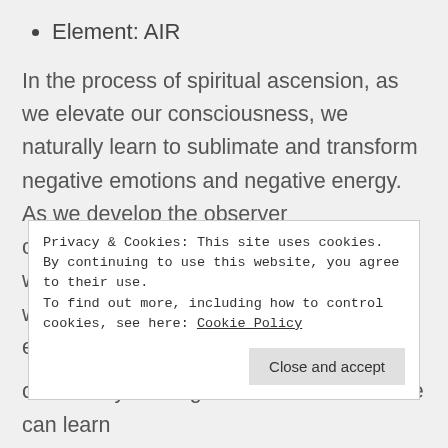Element: AIR
In the process of spiritual ascension, as we elevate our consciousness, we naturally learn to sublimate and transform negative emotions and negative energy. As we develop the observer consciousness within, we are able to witness our emotions and external events without identifying that we are that emotion or event. As we observe the emotions or event, we alchemically transform them, sublimate
Privacy & Cookies: This site uses cookies. By continuing to use this website, you agree to their use.
To find out more, including how to control cookies, see here: Cookie Policy
one's body and higher consciousness. We can learn